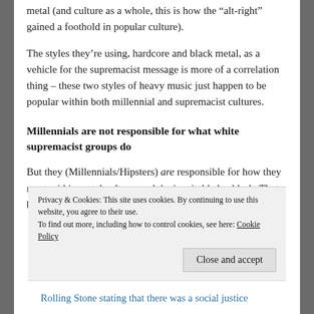metal (and culture as a whole, this is how the “alt-right” gained a foothold in popular culture).
The styles they’re using, hardcore and black metal, as a vehicle for the supremacist message is more of a correlation thing – these two styles of heavy music just happen to be popular within both millennial and supremacist cultures.
Millennials are not responsible for what white supremacist groups do
But they (Millennials/Hipsters) are responsible for how they react within metal culture; and the inevitable backlash. That backlash/reaction can be seen as a direct
Privacy & Cookies: This site uses cookies. By continuing to use this website, you agree to their use.
To find out more, including how to control cookies, see here: Cookie Policy
Rolling Stone stating that there was a social justice